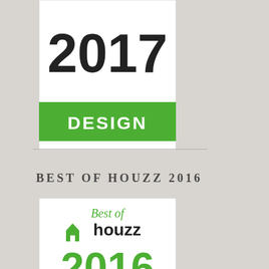[Figure (logo): Best of Houzz 2017 Design badge — white background with green bottom bar reading DESIGN in white text, and large '2017' numeral in dark text above]
BEST OF HOUZZ 2016
[Figure (logo): Best of Houzz 2016 Design badge — white background with 'Best of' in green script, houzz logo with green house icon and black 'houzz' text, large green '2016' numeral, and green bottom bar reading DESIGN in white text]